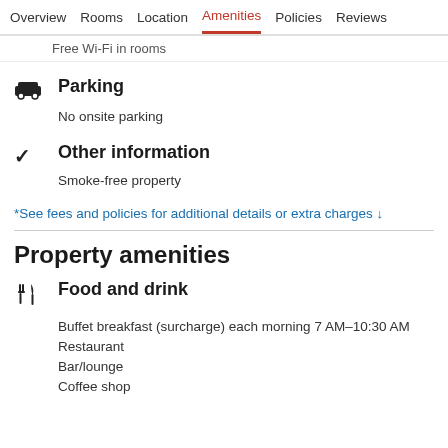Overview  Rooms  Location  Amenities  Policies  Reviews
Free Wi-Fi in rooms
Parking
No onsite parking
Other information
Smoke-free property
*See fees and policies for additional details or extra charges ↓
Property amenities
Food and drink
Buffet breakfast (surcharge) each morning 7 AM–10:30 AM
Restaurant
Bar/lounge
Coffee shop